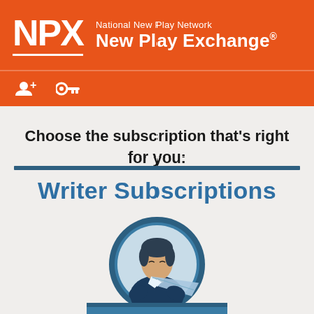[Figure (logo): NPX National New Play Network New Play Exchange logo on orange background with white text]
[Figure (infographic): Orange navigation bar with add-person icon and key icon in white]
Choose the subscription that's right for you:
Writer Subscriptions
[Figure (illustration): Circular illustration of a person with a quill pen, in blue tones, representing a writer]